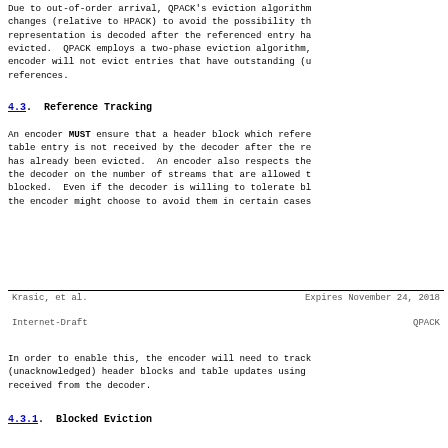Due to out-of-order arrival, QPACK's eviction algorithm changes (relative to HPACK) to avoid the possibility th representation is decoded after the referenced entry ha evicted. QPACK employs a two-phase eviction algorithm, encoder will not evict entries that have outstanding (u references.
4.3. Reference Tracking
An encoder MUST ensure that a header block which refere table entry is not received by the decoder after the re has already been evicted. An encoder also respects the the decoder on the number of streams that are allowed t blocked. Even if the decoder is willing to tolerate bl the encoder might choose to avoid them in certain cases
Krasic, et al.                    Expires November 24, 2018
Internet-Draft                              QPACK
In order to enable this, the encoder will need to track (unacknowledged) header blocks and table updates using received from the decoder.
4.3.1. Blocked Eviction